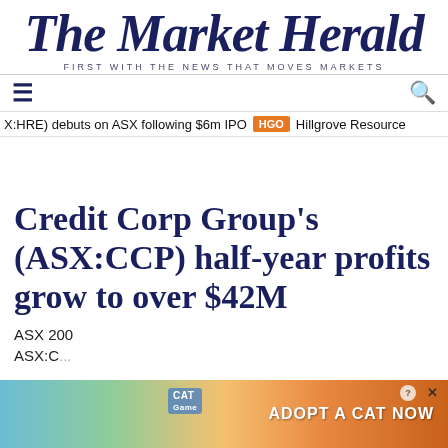The Market Herald — FIRST WITH THE NEWS THAT MOVES MARKETS
≡  🔍
X:HRE) debuts on ASX following $6m IPO  HGO  Hillgrove Resource
Credit Corp Group's (ASX:CCP) half-year profits grow to over $42M
ASX 200
ASX:C...